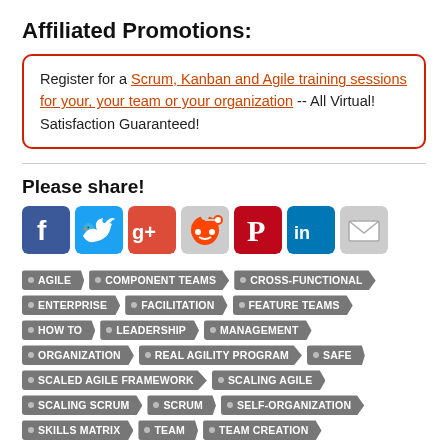Affiliated Promotions:
Register for a Scrum, Kanban and Agile training sessions for your, your team or your organization -- All Virtual! Satisfaction Guaranteed!
Please share!
[Figure (infographic): Social media share icons: Facebook, Twitter, Google+, Reddit, Pinterest, LinkedIn, Email]
AGILE
COMPONENT TEAMS
CROSS-FUNCTIONAL
ENTERPRISE
FACILITATION
FEATURE TEAMS
HOW TO
LEADERSHIP
MANAGEMENT
ORGANIZATION
REAL AGILITY PROGRAM
SAFE
SCALED AGILE FRAMEWORK
SCALING AGILE
SCALING SCRUM
SCRUM
SELF-ORGANIZATION
SKILLS MATRIX
TEAM
TEAM CREATION